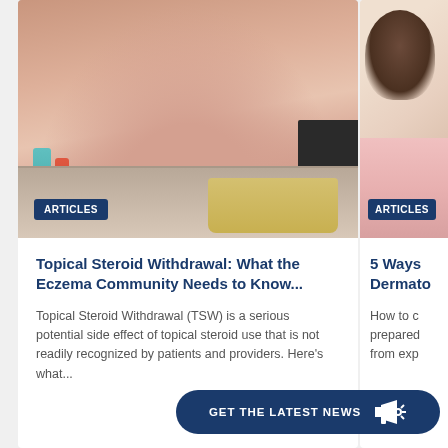[Figure (photo): Close-up photo of a human forearm with red, irritated skin (eczema/TSW) held over a bathroom sink. Toothbrushes visible on left, dark object and yellow basin on right.]
ARTICLES
Topical Steroid Withdrawal: What the Eczema Community Needs to Know...
Topical Steroid Withdrawal (TSW) is a serious potential side effect of topical steroid use that is not readily recognized by patients and providers. Here's what...
[Figure (photo): Partial photo of a person seen from behind, with curly/wavy hair and a pink shirt, suggesting a patient or person with skin condition on their back.]
ARTICLES
5 Ways Dermato
How to c prepared from exp
GET THE LATEST NEWS